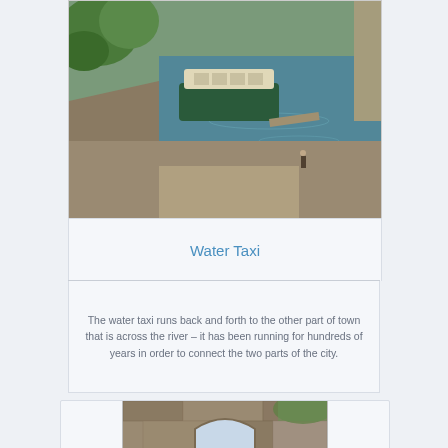[Figure (photo): Aerial view of a water taxi boat docked near a stone/rocky riverbank with blue-green water]
Water Taxi
The water taxi runs back and forth to the other part of town that is across the river – it has been running for hundreds of years in order to connect the two parts of the city.
[Figure (photo): Close-up of a stone archway/arch bridge with worn stone masonry, trees visible in background]